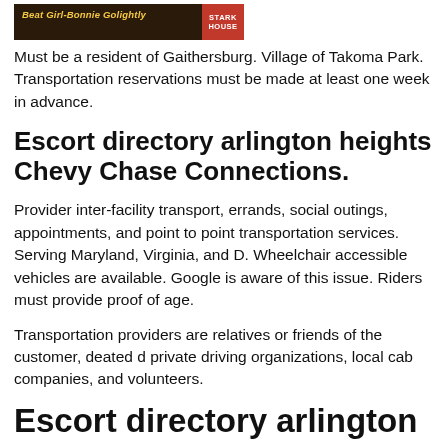[Figure (other): Banner image with text 'Beat Girl-Bonnie Golightly' on dark background with red label block on right side]
Must be a resident of Gaithersburg. Village of Takoma Park. Transportation reservations must be made at least one week in advance.
Escort directory arlington heights Chevy Chase Connections.
Provider inter-facility transport, errands, social outings, appointments, and point to point transportation services. Serving Maryland, Virginia, and D. Wheelchair accessible vehicles are available. Google is aware of this issue. Riders must provide proof of age.
Transportation providers are relatives or friends of the customer, deated d private driving organizations, local cab companies, and volunteers.
Escort directory arlington